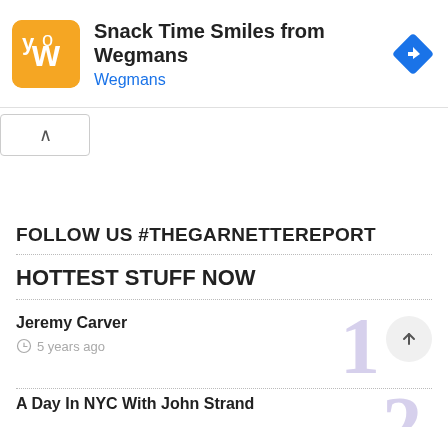[Figure (screenshot): Ad banner: Wegmans Snack Time Smiles app ad with orange logo, title 'Snack Time Smiles from Wegmans', subtitle 'Wegmans', and a blue diamond navigation icon]
▷ ×
^
FOLLOW US #THEGARNETTEREPORT
HOTTEST STUFF NOW
Jeremy Carver
5 years ago
A Day In NYC With John Strand